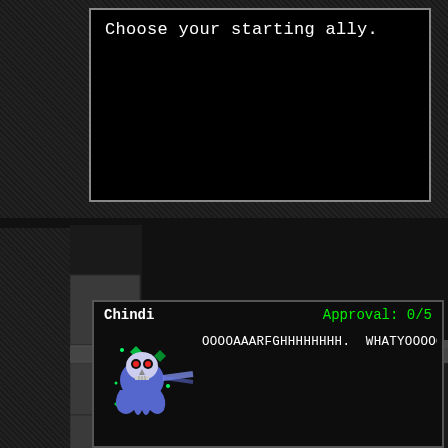Choose your starting ally.
[Figure (screenshot): Top-down RPG game map showing dungeon tiles with pixel art characters including a player character, a goblin-type ally highlighted with a green selection box, a dark-clothed character, and an orange creature. The dungeon has grey stone floor tiles, walls, and dark corridors.]
Chindi    Approval: 0/5
[Figure (screenshot): Pixel art sprite of Chindi character - a blue/purple ghost-like creature with a skull face and green diamond/gem particles surrounding it]
OOOOAAARFGHHHHHHHH.  WHATYOOOOOOUUUUUUWA